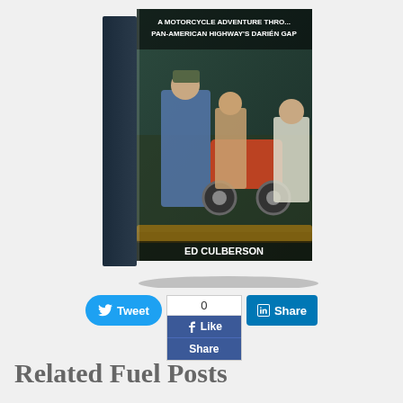[Figure (photo): Book cover photo showing a motorcycle being loaded onto a boat/raft by two men in a jungle/river setting. Text on cover reads 'A Motorcycle Adventure ... Pan-American Highway's Darién Gap' and 'ED CULBERSON'. The book spine shows 'SSIONS DIE HARD'.]
[Figure (screenshot): Social media sharing buttons: a blue Twitter 'Tweet' button, a Facebook like/share box showing count '0' with Like and Share buttons, and a LinkedIn 'Share' button.]
Related Fuel Posts